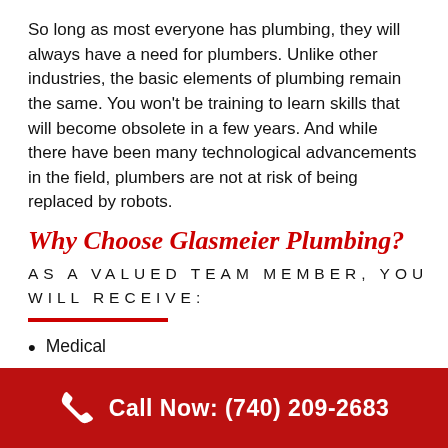So long as most everyone has plumbing, they will always have a need for plumbers. Unlike other industries, the basic elements of plumbing remain the same. You won't be training to learn skills that will become obsolete in a few years. And while there have been many technological advancements in the field, plumbers are not at risk of being replaced by robots.
Why Choose Glasmeier Plumbing?
AS A VALUED TEAM MEMBER, YOU WILL RECEIVE:
Medical
Paid vacation
Opportunities for advancement through our
Call Now: (740) 209-2683